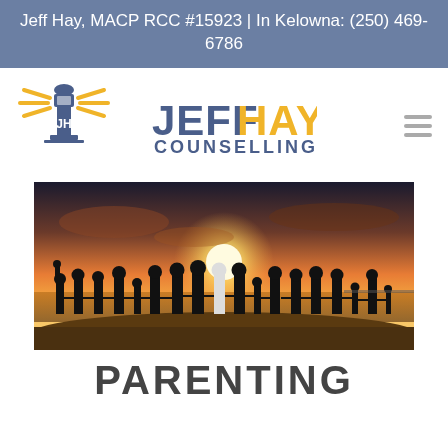Jeff Hay, MACP RCC #15923 | In Kelowna: (250) 469-6786
[Figure (logo): Jeff Hay Counselling logo with lighthouse icon and text JEFF HAY COUNSELLING]
[Figure (photo): Group of people silhouetted against a sunset on a beach, holding hands in a line]
PARENTING